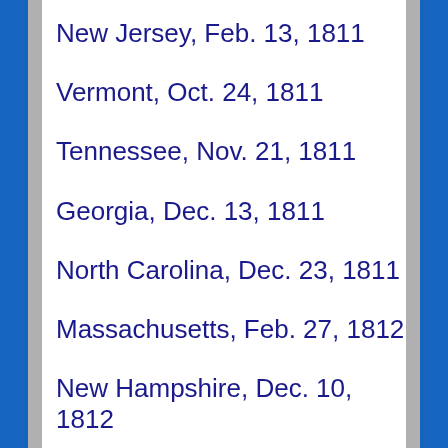New Jersey, Feb. 13, 1811
Vermont, Oct. 24, 1811
Tennessee, Nov. 21, 1811
Georgia, Dec. 13, 1811
North Carolina, Dec. 23, 1811
Massachusetts, Feb. 27, 1812
New Hampshire, Dec. 10, 1812